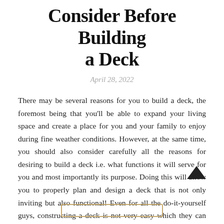Consider Before Building a Deck
April 28, 2022
There may be several reasons for you to build a deck, the foremost being that you'll be able to expand your living space and create a place for you and your family to enjoy during fine weather conditions. However, at the same time, you should also consider carefully all the reasons for desiring to build a deck i.e. what functions it will serve for you and most importantly its purpose. Doing this will allow you to properly plan and design a deck that is not only inviting but also functional! Even for all the do-it-yourself guys, constructing a deck is not very easy which they can tackle quite comfortably. For...